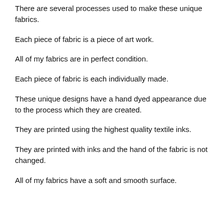There are several processes used to make these unique fabrics.
Each piece of fabric is a piece of art work.
All of my fabrics are in perfect condition.
Each piece of fabric is each individually made.
These unique designs have a hand dyed appearance due to the process which they are created.
They are printed using the highest quality textile inks.
They are printed with inks and the hand of the fabric is not changed.
All of my fabrics have a soft and smooth surface.